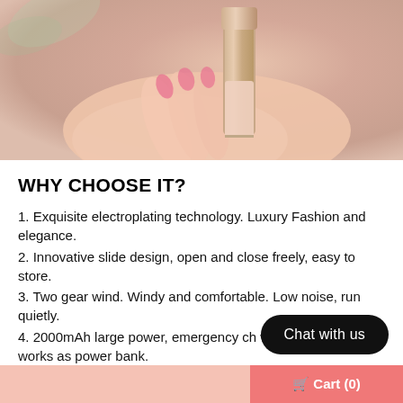[Figure (photo): Close-up photo of a hand holding a rose gold/pink lipstick or cosmetic product against a warm beige-pink background with blurred green leaves in the top left corner.]
WHY CHOOSE IT?
1. Exquisite electroplating technology. Luxury Fashion and elegance.
2. Innovative slide design, open and close freely, easy to store.
3. Two gear wind. Windy and comfortable. Low noise, run quietly.
4. 2000mAh large power, emergency ch working time. It works as power bank.